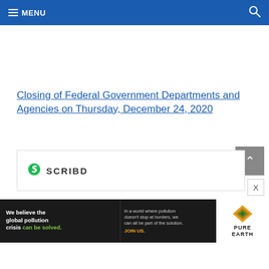≡ MENU
Closing of Federal Government Departments and Agencies on Thursday, December 24, 2020
[Figure (screenshot): Scribd embedded document logo showing the Scribd 'S' icon in green and the word SCRIBD in grey capitals]
[Figure (infographic): Pure Earth advertisement banner: 'We believe the global pollution crisis can be solved.' with text 'In a world where pollution doesn't stop at borders, we can all be part of the solution. JOIN US.' and Pure Earth logo with diamond/leaf icon]